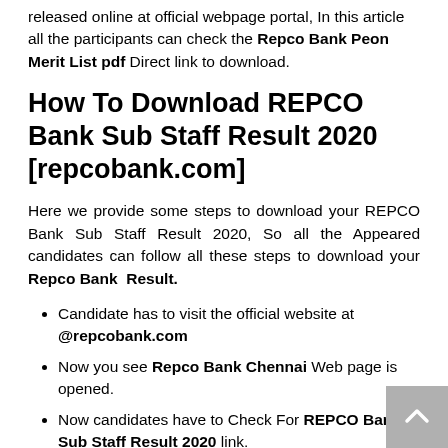released online at official webpage portal, In this article all the participants can check the Repco Bank Peon Merit List pdf Direct link to download.
How To Download REPCO Bank Sub Staff Result 2020 [repcobank.com]
Here we provide some steps to download your REPCO Bank Sub Staff Result 2020, So all the Appeared candidates can follow all these steps to download your Repco Bank  Result.
Candidate has to visit the official website at @repcobank.com
Now you see Repco Bank Chennai Web page is opened.
Now candidates have to Check For REPCO Bank Sub Staff Result 2020 link.